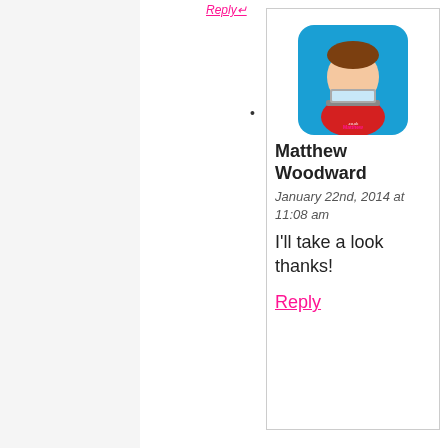Reply↩
[Figure (illustration): Avatar image of Matthew Woodward - cartoon character with blue background and laptop, rounded square shape]
Matthew Woodward
January 22nd, 2014 at 11:08 am
I'll take a look thanks!
Reply